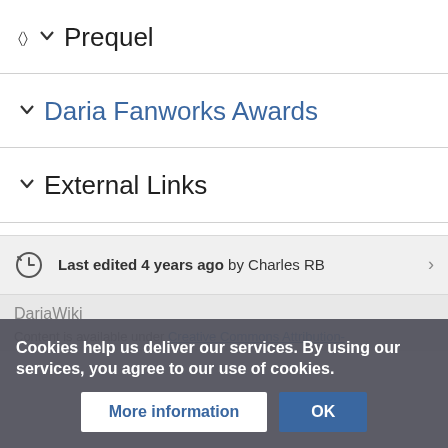Prequel
Daria Fanworks Awards
External Links
Last edited 4 years ago by Charles RB
DariaWiki
Cookies help us deliver our services. By using our services, you agree to our use of cookies.
More information
OK
Content is available under Creative Commons Attribution-